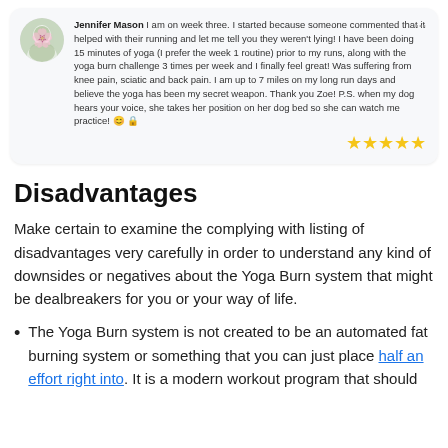Jennifer Mason I am on week three. I started because someone commented that it helped with their running and let me tell you they weren't lying! I have been doing 15 minutes of yoga (I prefer the week 1 routine) prior to my runs, along with the yoga burn challenge 3 times per week and I finally feel great! Was suffering from knee pain, sciatic and back pain. I am up to 7 miles on my long run days and believe the yoga has been my secret weapon. Thank you Zoe! P.S. when my dog hears your voice, she takes her position on her dog bed so she can watch me practice! 😊 🔒 ★★★★★
Disadvantages
Make certain to examine the complying with listing of disadvantages very carefully in order to understand any kind of downsides or negatives about the Yoga Burn system that might be dealbreakers for you or your way of life.
The Yoga Burn system is not created to be an automated fat burning system or something that you can just place half an effort right into. It is a modern workout program that should